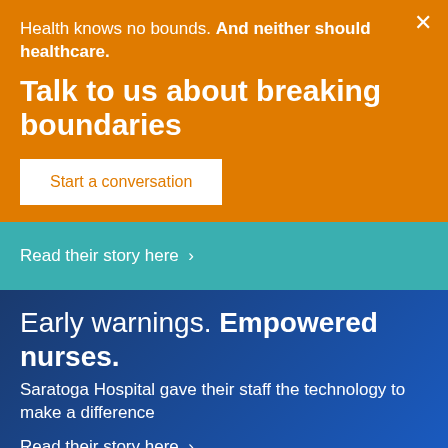Health knows no bounds. And neither should healthcare.
Talk to us about breaking boundaries
Start a conversation
Read their story here ›
Early warnings. Empowered nurses.
Saratoga Hospital gave their staff the technology to make a difference
Read their story here ›